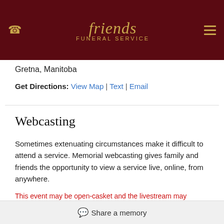Friends Funeral Service
Gretna, Manitoba
Get Directions: View Map | Text | Email
Webcasting
Sometimes extenuating circumstances make it difficult to attend a service. Memorial webcasting gives family and friends the opportunity to view a service live, online, from anywhere.
This event may be open-casket and the livestream may contain views of the deceased.
Watch Webcast
Share a memory